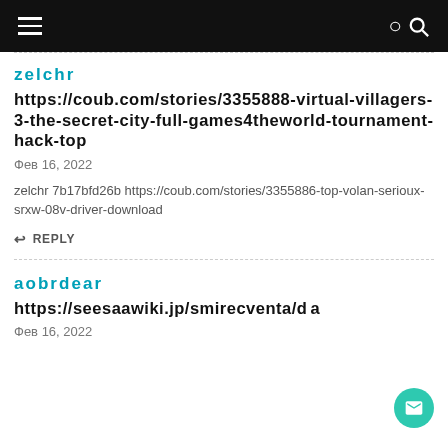Navigation bar with hamburger menu and search icon
zelchr
https://coub.com/stories/3355888-virtual-villagers-3-the-secret-city-full-games4theworld-tournament-hack-top
Фев 16, 2022
zelchr 7b17bfd26b https://coub.com/stories/3355886-top-volan-serioux-srxw-08v-driver-download
REPLY
aobrdear
https://seesaawiki.jp/smirecventa/d...a
Фев 16, 2022